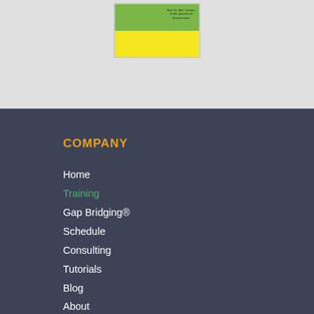[Figure (photo): Book cover thumbnail showing a green and yellow design with text 'Bob "Dr. Mac" LeVitus']
COMPANY
Home
Training
Gap Bridging®
Schedule
Consulting
Tutorials
Blog
About
Contact
Books